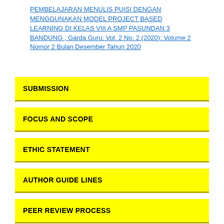PEMBELAJARAN MENULIS PUISI DENGAN MENGGUNAKAN MODEL PROJECT BASED LEARNING DI KELAS VIII A SMP PASUNDAN 3 BANDUNG , Garda Guru: Vol. 2 No. 2 (2020): Volume 2 Nomor 2 Bulan Desember Tahun 2020
SUBMISSION
FOCUS AND SCOPE
ETHIC STATEMENT
AUTHOR GUIDE LINES
PEER REVIEW PROCESS